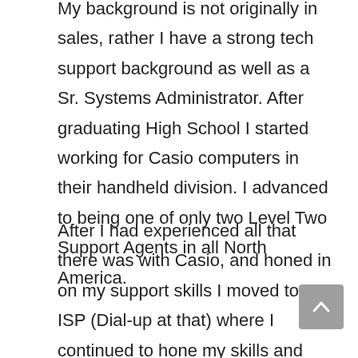My background is not originally in sales, rather I have a strong tech support background as well as a Sr. Systems Administrator. After graduating High School I started working for Casio computers in their handheld division. I advanced to being one of only two Level Two Support Agents in all North America.
After I had experienced all that there was with Casio, and honed in on my support skills I moved to an ISP (Dial-up at that) where I continued to hone my skills and developer many more, including using WordPress.
I then had the opportunity to move to an up